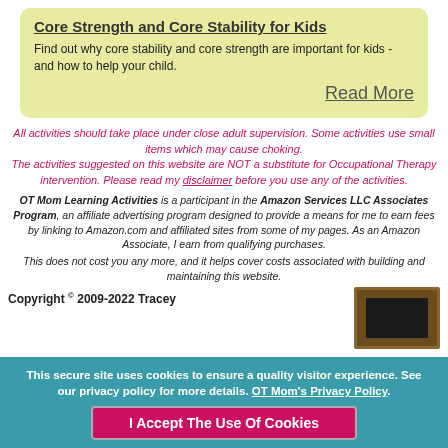Core Strength and Core Stability for Kids
Find out why core stability and core strength are important for kids - and how to help your child.
Read More
All activities should take place under close adult supervision. Some activities use small items which may cause choking. The activities suggested on this website are NOT a substitute for Occupational Therapy intervention. Please read my disclaimer before you use any of the activities.
OT Mom Learning Activities is a participant in the Amazon Services LLC Associates Program, an affiliate advertising program designed to provide a means for me to earn fees by linking to Amazon.com and affiliated sites from some of my pages. As an Amazon Associate, I earn from qualifying purchases.
This does not cost you any more, and it helps cover costs associated with building and maintaining this website.
Copyright © 2009-2022  Tracey
[Figure (photo): Thumbnail photo with brown/gold frame border and dark interior]
This secure site uses cookies to ensure a quality visitor experience. See our privacy policy for more details. OT Mom's Privacy Policy.
I Accept The Use Of Cookies